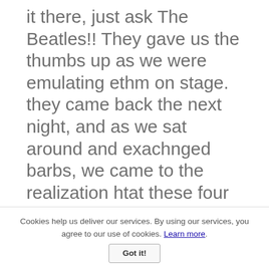it there, just ask The Beatles!! They gave us the thumbs up as we were emulating ethm on stage. they came back the next night, and as we sat around and exachnged barbs, we came to the realization htat these four young musicians from England who are crteatinga phenomenon in the music world are down to earth, great young people who are a tribute to all humanity.

Things really started to happen for us when the Beatles commented to the New York papers that they thought we were a great band, and Ringo thought we had a better beat. I don't know what he meant by that but we were inundated with
Cookies help us deliver our services. By using our services, you agree to our use of cookies. Learn more. Got it!